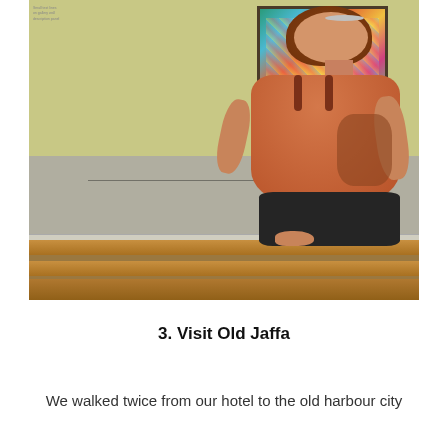[Figure (photo): A woman with red hair in a bun, wearing an orange/rust sleeveless top and black pants, viewed from behind, sitting on a wooden bench and looking at a colorful painting on a pale yellow wall in an art gallery setting.]
3. Visit Old Jaffa
We walked twice from our hotel to the old harbour city